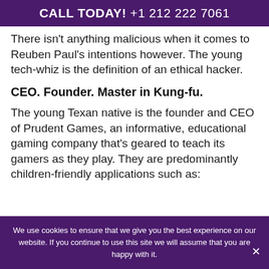CALL TODAY! +1 212 222 7061
There isn't anything malicious when it comes to Reuben Paul's intentions however. The young tech-whiz is the definition of an ethical hacker.
CEO. Founder. Master in Kung-fu.
The young Texan native is the founder and CEO of Prudent Games, an informative, educational gaming company that's geared to teach its gamers as they play. They are predominantly children-friendly applications such as:
We use cookies to ensure that we give you the best experience on our website. If you continue to use this site we will assume that you are happy with it.